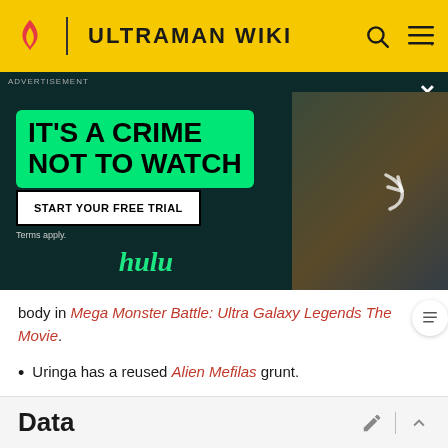ULTRAMAN WIKI
[Figure (screenshot): Hulu advertisement banner: 'IT'S A CRIME NOT TO WATCH' with START YOUR FREE TRIAL button, Terms apply., hulu logo, and a photo of a person holding something in a library setting]
body in Mega Monster Battle: Ultra Galaxy Legends The Movie.
Uringa has a reused Alien Mefilas grunt.
Data
Urin
[Figure (infographic): Survey card: purple/orange graphic icon, text 'We want your honest take on online discussions', 'SURVEY: ONLINE FORUMS']